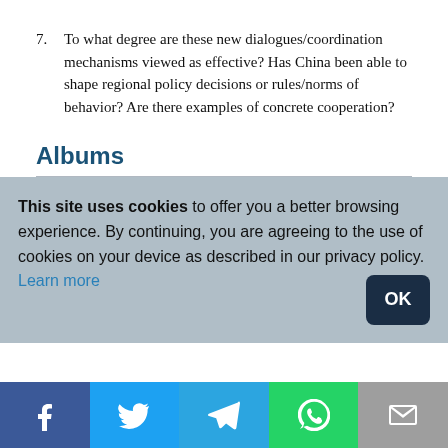7. To what degree are these new dialogues/coordination mechanisms viewed as effective? Has China been able to shape regional policy decisions or rules/norms of behavior? Are there examples of concrete cooperation?
Albums
This site uses cookies to offer you a better browsing experience. By continuing, you are agreeing to the use of cookies on your device as described in our privacy policy. Learn more